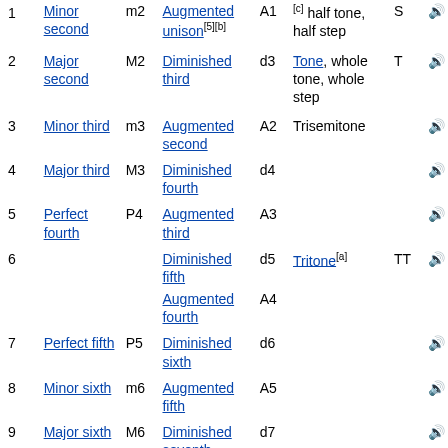| # | Name | Abbr | Enharmonic equivalent | Abbr | Other names | Short | Audio |
| --- | --- | --- | --- | --- | --- | --- | --- |
| 1 | Minor second | m2 | Augmented unison[5][b] | A1 | [c] half tone, half step | S | 🔊 |
| 2 | Major second | M2 | Diminished third | d3 | Tone, whole tone, whole step | T | 🔊 |
| 3 | Minor third | m3 | Augmented second | A2 | Trisemitone |  | 🔊 |
| 4 | Major third | M3 | Diminished fourth | d4 |  |  | 🔊 |
| 5 | Perfect fourth | P4 | Augmented third | A3 |  |  | 🔊 |
| 6 |  |  | Diminished fifth | d5 | Tritone[a] | TT | 🔊 |
| 6 |  |  | Augmented fourth | A4 |  |  |  |
| 7 | Perfect fifth | P5 | Diminished sixth | d6 |  |  | 🔊 |
| 8 | Minor sixth | m6 | Augmented fifth | A5 |  |  | 🔊 |
| 9 | Major sixth | M6 | Diminished seventh | d7 |  |  | 🔊 |
| 10 | Minor | m7 | Augmented | A6 |  |  | 🔊 |